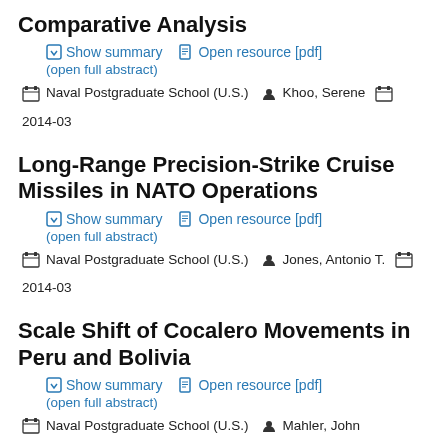Comparative Analysis
Show summary   Open resource [pdf]
(open full abstract)
Naval Postgraduate School (U.S.)   Khoo, Serene   2014-03
Long-Range Precision-Strike Cruise Missiles in NATO Operations
Show summary   Open resource [pdf]
(open full abstract)
Naval Postgraduate School (U.S.)   Jones, Antonio T.   2014-03
Scale Shift of Cocalero Movements in Peru and Bolivia
Show summary   Open resource [pdf]
(open full abstract)
Naval Postgraduate School (U.S.)   Mahler, John